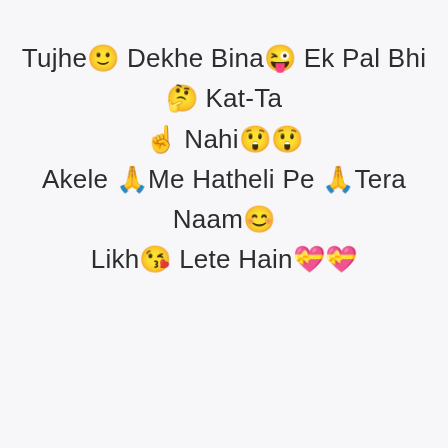Tujhe🙂 Dekhe Bina😜 Ek Pal Bhi🤔 Kat-Ta ☝ Nahi😲😲
Akele 🙏Me Hatheli Pe 🙏Tera Naam😊 Likh😘 Lete Hain💝💝